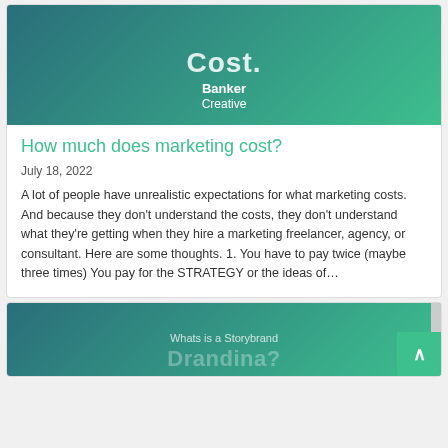[Figure (illustration): Hero banner with teal-to-green gradient background showing partial text 'Cost.' and 'Banker Creative' branding]
How much does marketing cost?
July 18, 2022
A lot of people have unrealistic expectations for what marketing costs. And because they don't understand the costs, they don't understand what they're getting when they hire a marketing freelancer, agency, or consultant. Here are some thoughts. 1. You have to pay twice (maybe three times) You pay for the STRATEGY or the ideas of…
[Figure (illustration): Second card hero banner with teal gradient, showing 'Whats is a Storybrand' subtitle and partial large text below, with scroll-to-top button overlay]